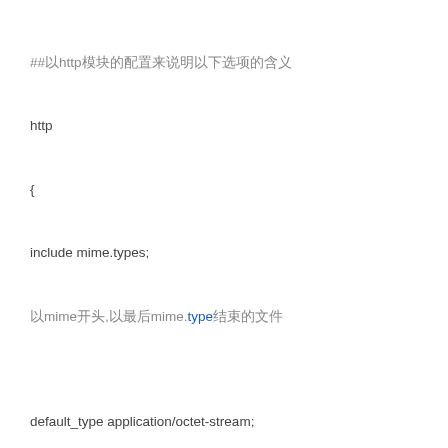##以http模块的配置来说明以下选项的含义
http
{
include mime.types;
以mime开头,以最后mime.type结束的文件

default_type application/octet-stream;

log_format main '$remote_addr - $remote_user [$time_local]
"$request" '
'$status $body_bytes_sent "$http_referer" '
'"$http_user_agent" "$http_x_forwarded_for"';
log_format log404 '$status [$time_local] $remote_addr
$host$request_uri $sent_http_location';
日志格式
$remote_addr与$http_x_forwarded_for用以记录ip地址
$remote_user：用来记录客户端用户名称
$time_local： 用来记录访问时间与时区